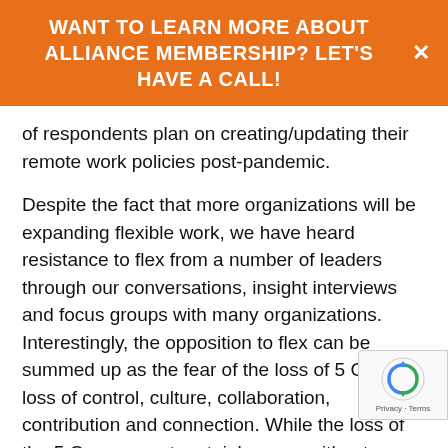WANT TO LEARN MORE ABOUT ALLIANCE MEMBERSHIP? LET'S HAVE A CALL!
of respondents plan on creating/updating their remote work policies post-pandemic.
Despite the fact that more organizations will be expanding flexible work, we have heard resistance to flex from a number of leaders through our conversations, insight interviews and focus groups with many organizations. Interestingly, the opposition to flex can be summed up as the fear of the loss of 5 Cs – loss of control, culture, collaboration, contribution and connection. While the loss of the 5 Cs can most certainly occur without proper flex infrastructure and support, organizations can prevent the loss of the 5Cs and also counter arguments against flex by building proper